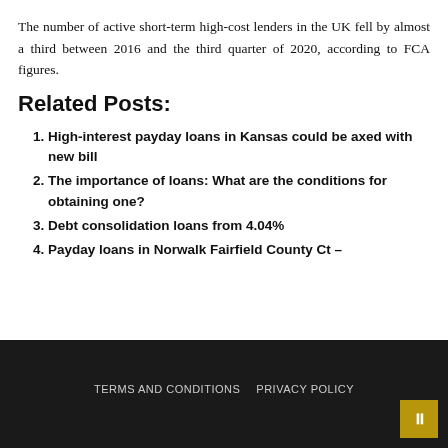The number of active short-term high-cost lenders in the UK fell by almost a third between 2016 and the third quarter of 2020, according to FCA figures.
Related Posts:
High-interest payday loans in Kansas could be axed with new bill
The importance of loans: What are the conditions for obtaining one?
Debt consolidation loans from 4.04%
Payday loans in Norwalk Fairfield County Ct –
TERMS AND CONDITIONS   PRIVACY POLICY